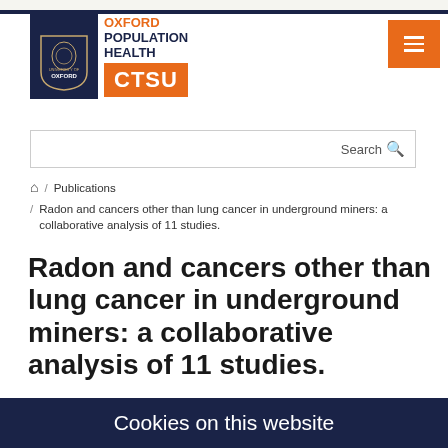[Figure (logo): Oxford Population Health CTSU logo with University of Oxford shield and orange CTSU badge]
Search
/ Publications / Radon and cancers other than lung cancer in underground miners: a collaborative analysis of 11 studies.
Radon and cancers other than lung cancer in underground miners: a collaborative analysis of 11 studies.
Cookies on this website